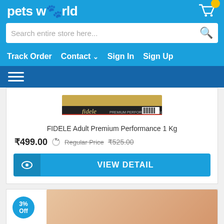petsworld
Search entire store here...
Track Order  Contact  Sign In  Sign Up
[Figure (screenshot): Hamburger menu icon (three horizontal lines) on dark blue background]
[Figure (photo): Product image of Fidele Premium Performance dog food 4kg box]
FIDELE Adult Premium Performance 1 Kg
₹499.00  Regular Price  ₹525.00
VIEW DETAIL
3% Off